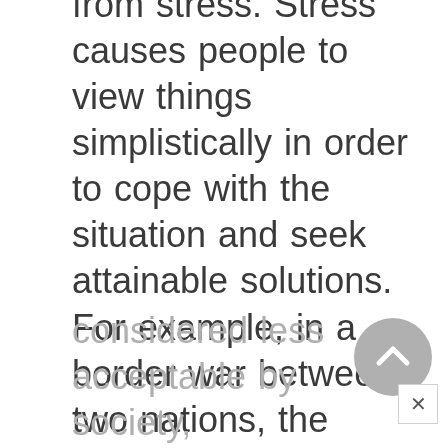from stress. Stress causes people to view things simplistically in order to cope with the situation and seek attainable solutions. For example, in a border war between two nations, the people of one nation will view members of the other nation as strongly possessing negative traits in order to go into combat and try to kill them. Stereotyping can build a remarkable consensus in society through time. However once
considered less acceptable by society,